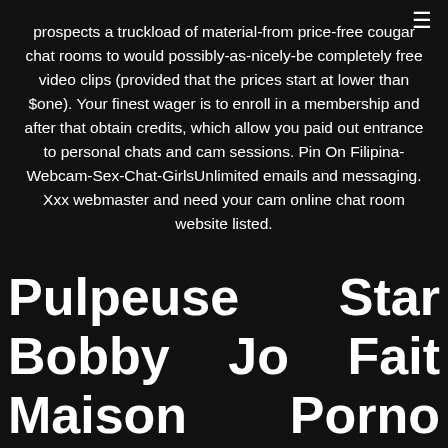prospects a truckload of material-from price-free cougar chat rooms to would possibly-as-nicely-be completely free video clips (provided that the prices start at lower than $one). Your finest wager is to enroll in a membership and after that obtain credits, which allow you paid out entrance to personal chats and cam sessions. Pin On Filipina-Webcam-Sex-Chat-GirlsUnlimited emails and messaging. Xxx webmaster and need your cam online chat room website listed.
Pulpeuse Star Bobby Jo Fait Maison Porno String Sexy De La Bande Vidéo Extrait Gratuit Femme